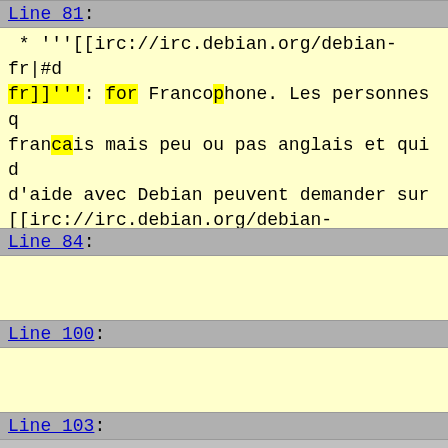Line 81: * '''[[irc://irc.debian.org/debian-fr|#debian-fr]]''': for Francophone. Les personnes qui parlent francais mais peu ou pas anglais et qui ont besoin d'aide avec Debian peuvent demander sur [[irc://irc.debian.org/debian-fr|#debian-fr]]
Line 84:
Line 100:
Line 103: